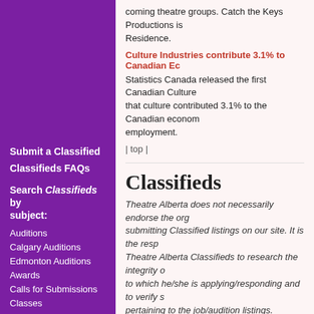coming theatre groups. Catch the Keys Productions is Residence.
Culture Industries contribute 3.1% to Canadian Ec
Statistics Canada released the first Canadian Culture that culture contributed 3.1% to the Canadian econom employment.
| top |
Submit a Classified
Classifieds FAQs
Search Classifieds by subject:
Auditions
Calgary Auditions
Edmonton Auditions
Awards
Calls for Submissions
Classes
Competitions
Deals (e.g. ticket discounts)
Education
Events
Fundraisers
Go See A Play!
Classifieds
Theatre Alberta does not necessarily endorse the org submitting Classified listings on our site. It is the resp Theatre Alberta Classifieds to research the integrity o to which he/she is applying/responding and to verify s pertaining to the job/audition listings.
Auditions
CALGARY
Auditions (Calgary): I Hate Hamlet – Morpheus Th 7:00 - 9:30pm.
Audition (Calgary): rihannaboi95 – Downstage - D
Auditions (Calgary): Cat on a Hot Tin Roof – Dewo October 11-15.